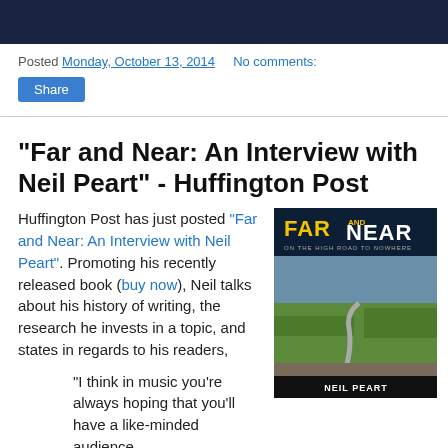Posted Monday, October 13, 2014   No comments:
Share
"Far and Near: An Interview with Neil Peart" - Huffington Post
Huffington Post has just posted "Far and Near: An Interview with Neil Peart". Promoting his recently released book (buy now), Neil talks about his history of writing, the research he invests in a topic, and states in regards to his readers,
[Figure (photo): Book cover of 'Far and Near' by Neil Peart, showing a rural landscape with a winding road and green fields, with bold yellow and white title text on a dark background at the top.]
"I think in music you're always hoping that you'll have a like-minded audience,